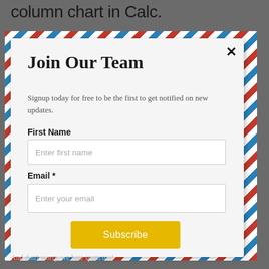column chart in Calc.
Join Our Team
Signup today for free to be the first to get notified on new updates.
First Name
Enter first name
Email *
Enter your email
Subscribe
And don't worry, we hate spam too!